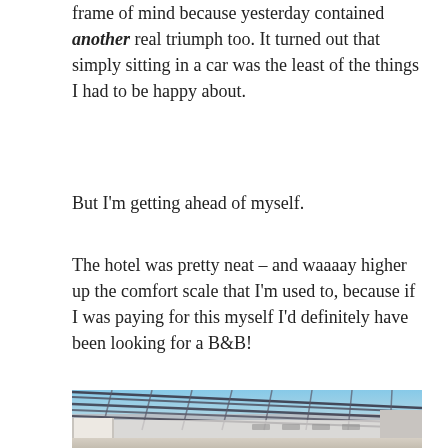frame of mind because yesterday contained another real triumph too. It turned out that simply sitting in a car was the least of the things I had to be happy about.
But I'm getting ahead of myself.
The hotel was pretty neat – and waaaay higher up the comfort scale that I'm used to, because if I was paying for this myself I'd definitely have been looking for a B&B!
[Figure (photo): Interior photograph of a hotel atrium with a glass and metal roof structure overhead, white walls and pillars visible, taken from below looking up at an angle.]